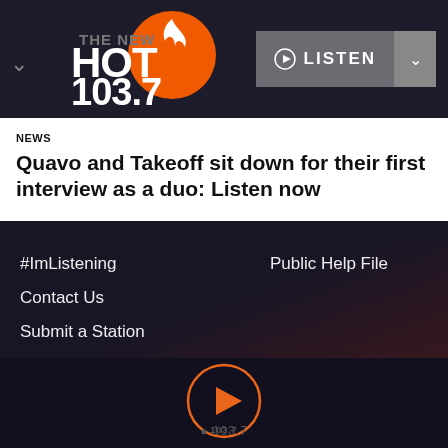[Figure (logo): The New HOT 103.7 - 100% Throwbacks radio station logo with orange flame on orange circle]
NEWS
Quavo and Takeoff sit down for their first interview as a duo: Listen now
#ImListening
Contact Us
Submit a Station
Submit a Podcast
Sitemap
Advertise with Us
Audacy Corporate Site
Public Help File
[Figure (other): Orange circle play button with HOT 103.7 text overlay at the bottom of the page]